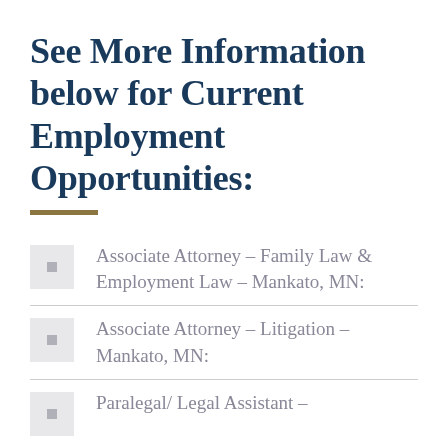See More Information below for Current Employment Opportunities:
Associate Attorney – Family Law & Employment Law – Mankato, MN:
Associate Attorney – Litigation – Mankato, MN:
Paralegal/ Legal Assistant –